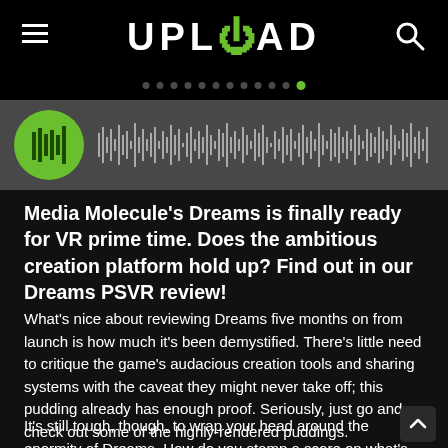UPLOAD
[Figure (other): Audio player with green circular thumbnail and audio waveform visualization on dark grey background]
Media Molecule's Dreams is finally ready for VR prime time. Does the ambitious creation platform hold up? Find out in our Dreams PSVR review!
What's nice about reviewing Dreams five months on from launch is how much it's been demystified. There's little need to critique the game's audacious creation tools and sharing systems with the caveat they might never take off; this pudding already has enough proof. Seriously, just go and check out some of the highly-rendered puddings.
It's still tough, though, to wrap your head around the enormity of Dreams. How do you stamp a score on what's essentially a YouTube-style platform of